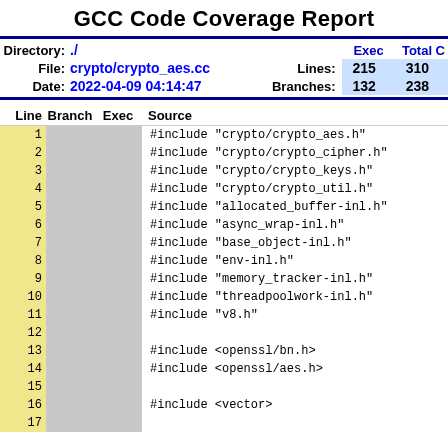GCC Code Coverage Report
| Directory: | ./ |  | Exec | Total | C |
| --- | --- | --- | --- | --- | --- |
| File: | crypto/crypto_aes.cc | Lines: | 215 | 310 |  |
| Date: | 2022-04-09 04:14:47 | Branches: | 132 | 238 |  |
| Line | Branch | Exec | Source |
| --- | --- | --- | --- |
| 1 |  |  | #include "crypto/crypto_aes.h" |
| 2 |  |  | #include "crypto/crypto_cipher.h" |
| 3 |  |  | #include "crypto/crypto_keys.h" |
| 4 |  |  | #include "crypto/crypto_util.h" |
| 5 |  |  | #include "allocated_buffer-inl.h" |
| 6 |  |  | #include "async_wrap-inl.h" |
| 7 |  |  | #include "base_object-inl.h" |
| 8 |  |  | #include "env-inl.h" |
| 9 |  |  | #include "memory_tracker-inl.h" |
| 10 |  |  | #include "threadpoolwork-inl.h" |
| 11 |  |  | #include "v8.h" |
| 12 |  |  |  |
| 13 |  |  | #include <openssl/bn.h> |
| 14 |  |  | #include <openssl/aes.h> |
| 15 |  |  |  |
| 16 |  |  | #include <vector> |
| 17 |  |  |  |